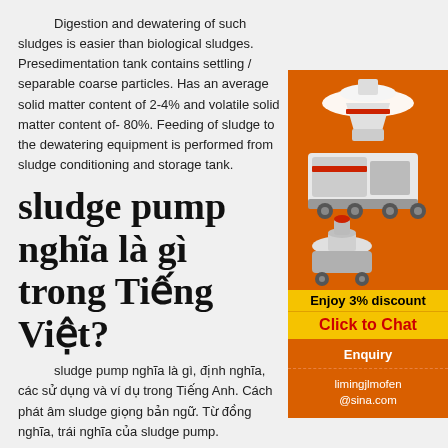Digestion and dewatering of such sludges is easier than biological sludges. Presedimentation tank contains settling / separable coarse particles. Has an average solid matter content of 2-4% and volatile solid matter content of- 80%. Feeding of sludge to the dewatering equipment is performed from sludge conditioning and storage tank.
sludge pump nghĩa là gì trong Tiếng Việt?
sludge pump nghĩa là gì, định nghĩa, các sử dụng và ví dụ trong Tiếng Anh. Cách phát âm sludge giọng bản ngữ. Từ đồng nghĩa, trái nghĩa của sludge pump.
[Figure (photo): Orange advertisement sidebar for industrial machinery (crushers, mills) with 'Enjoy 3% discount', 'Click to Chat', 'Enquiry', and contact email limingjlmofen@sina.com]
Filter Press